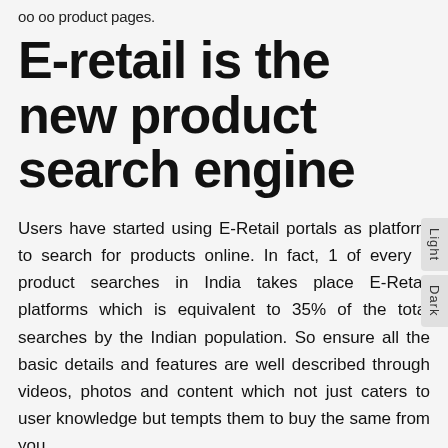oo oo product pages.
E-retail is the new product search engine
Users have started using E-Retail portals as platform to search for products online. In fact, 1 of every 3 product searches in India takes place E-Retail platforms which is equivalent to 35% of the total searches by the Indian population. So ensure all the basic details and features are well described through videos, photos and content which not just caters to user knowledge but tempts them to buy the same from you.